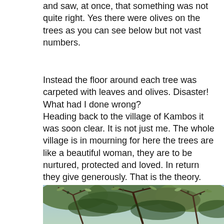and saw, at once, that something was not quite right. Yes there were olives on the trees as you can see below but not vast numbers.
Instead the floor around each tree was carpeted with leaves and olives. Disaster! What had I done wrong?
Heading back to the village of Kambos it was soon clear. It is not just me. The whole village is in mourning for here the trees are like a beautiful woman, they are to be nurtured, protected and loved. In return they give generously. That is the theory. But the Gods have not been kind to us this year.
[Figure (photo): Close-up photograph of olive tree branches with leaves and small olives visible, taken from below looking up through the canopy.]